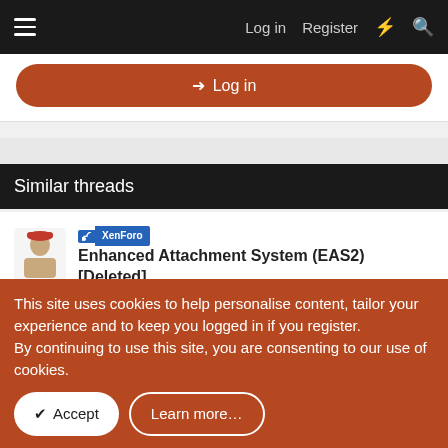Log in   Register
[Figure (screenshot): Login button (orange rounded) with arrow icon and 'Log in' text]
Similar threads
RSS XenForo Enhanced Attachment System (EAS2) [Deleted]
AB Paperboy · XenForo RSS News
Replies: 0 · Aug 9, 2022
RSS XenForo Attachment Improvements By Xon
AB Paperboy · XenForo RSS News
Replies: 0 · Jun 15, 2022
This site uses cookies to help personalise content, tailor your experience and to keep you logged in if you register.
By continuing to use this site, you are consenting to our use of cookies.